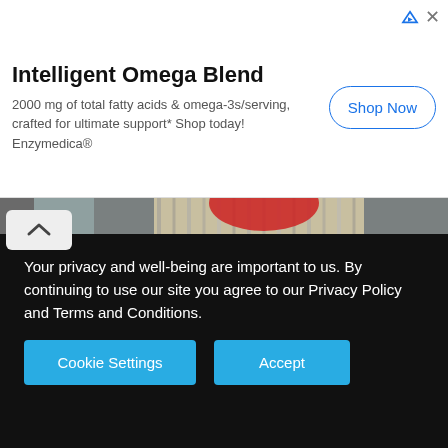[Figure (other): Advertisement banner for Intelligent Omega Blend supplement by Enzymedica. Title: 'Intelligent Omega Blend'. Body: '2000 mg of total fatty acids & omega-3s/serving, crafted for ultimate support* Shop today! Enzymedica®'. Includes a 'Shop Now' button and ad corner icons.]
[Figure (photo): Lecture hall scene showing a professor or presenter from the waist down wearing a plaid/striped shirt, holding an object, with two students seen from behind in the foreground. A whiteboard is partially visible on the left.]
Google's h5-index value is calculated to maximize both the number of published papers and the number of citations. According
Your privacy and well-being are important to us. By continuing to use our site you agree to our Privacy Policy and Terms and Conditions.
Cookie Settings   Accept